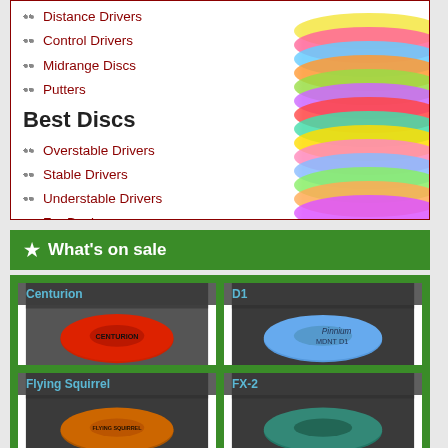Distance Drivers
Control Drivers
Midrange Discs
Putters
Best Discs
Overstable Drivers
Stable Drivers
Understable Drivers
For Beginners
For Aces
★ What's on sale
[Figure (photo): Red Centurion disc golf disc on white background]
[Figure (photo): Blue D1 disc golf disc on dark background]
[Figure (photo): Orange Flying Squirrel disc golf disc on dark background]
[Figure (photo): Teal FX-2 disc golf disc on dark background]